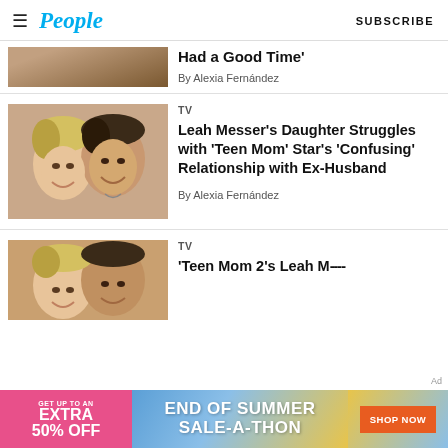People  SUBSCRIBE
Had a Good Time'
By Alexia Fernández
TV
Leah Messer's Daughter Struggles with 'Teen Mom' Star's 'Confusing' Relationship with Ex-Husband
By Alexia Fernández
TV
'Teen Mom 2's Leah M......
[Figure (photo): Advertisement banner: End of Summer Sale-A-Thon, Get up to an extra 50% off, Shop Now button]